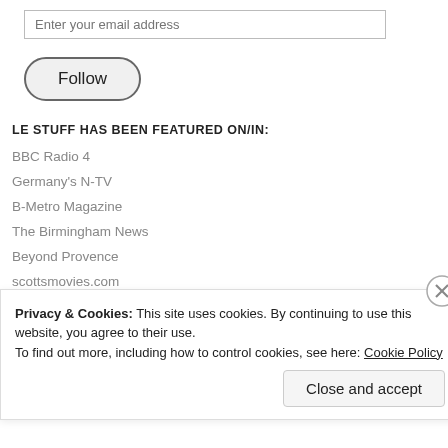Enter your email address
Follow
LE STUFF HAS BEEN FEATURED ON/IN:
BBC Radio 4
Germany's N-TV
B-Metro Magazine
The Birmingham News
Beyond Provence
scottsmovies.com
Subscribe to Le Stuff by Email
Privacy & Cookies: This site uses cookies. By continuing to use this website, you agree to their use.
To find out more, including how to control cookies, see here: Cookie Policy
Close and accept